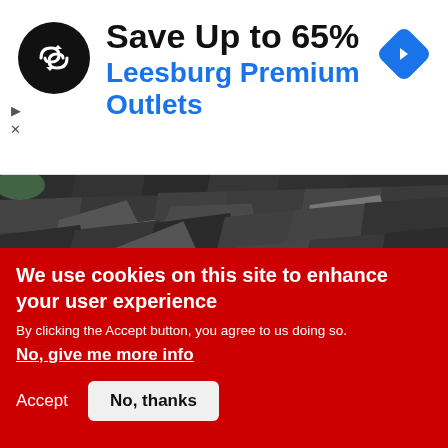[Figure (infographic): Advertisement banner: circular black logo with double arrow symbol, text 'Save Up to 65%' in bold black and 'Leesburg Premium Outlets' in blue, blue diamond navigation icon on the right, play and close controls on the left edge]
[Figure (photo): Close-up photo of severely damaged roof shingles, showing lifted, cracked, and missing asphalt shingles with exposed underlayment]
We use cookies on this site to enhance your user experience
By clicking the Accept button, you agree to us doing so.
No, give me more info
Accept
No, thanks